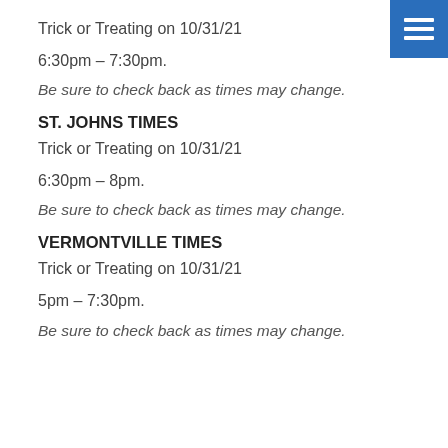Trick or Treating on 10/31/21
6:30pm – 7:30pm.
Be sure to check back as times may change.
ST. JOHNS TIMES
Trick or Treating on 10/31/21
6:30pm – 8pm.
Be sure to check back as times may change.
VERMONTVILLE TIMES
Trick or Treating on 10/31/21
5pm – 7:30pm.
Be sure to check back as times may change.